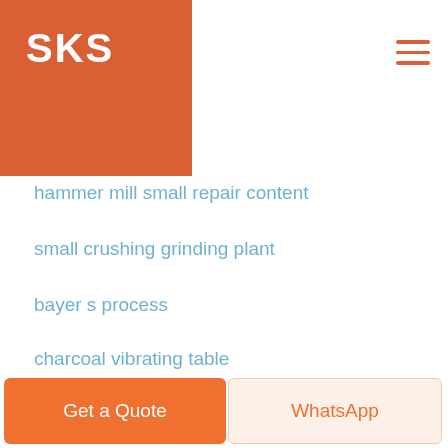[Figure (logo): SKS logo on orange/burnt-red background square, top-left corner]
[Figure (other): Hamburger menu icon (three horizontal orange lines) top-right]
hammer mill small repair content
small crushing grinding plant
bayer s process
charcoal vibrating table
austin western jaw crusher diagram
sitemap Copyright © 2000-2021 .SKS All rights reserved.
Get a Quote
WhatsApp